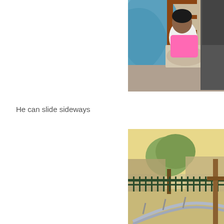[Figure (photo): A child in a pink top leaning sideways on a wooden chair with patterned seat cushion; an adult is partially visible; blue tent or backdrop in background]
He can slide sideways
[Figure (photo): Outdoor playground scene with a metal sideways slide in the foreground, trees and a fence visible in the background]